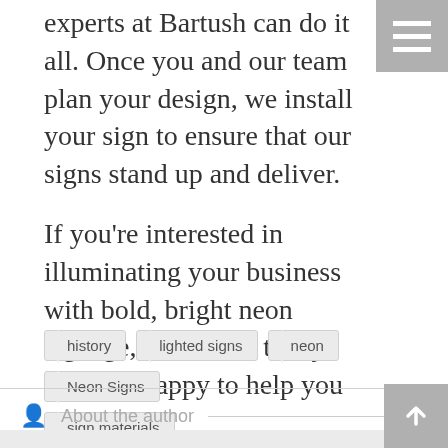experts at Bartush can do it all. Once you and our team plan your design, we install your sign to ensure that our signs stand up and deliver.
If you're interested in illuminating your business with bold, bright neon signage, contact us today. We'll be happy to help you get started.
history
lighted signs
neon
Neon Signs
sign materials
About the author